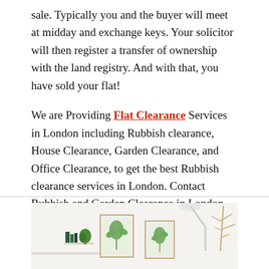sale. Typically you and the buyer will meet at midday and exchange keys. Your solicitor will then register a transfer of ownership with the land registry. And with that, you have sold your flat!
We are Providing Flat Clearance Services in London including Rubbish clearance, House Clearance, Garden Clearance, and Office Clearance, to get the best Rubbish clearance services in London. Contact Rubbish and Garden Clearance in London for any type of rubbish clearance activities.
[Figure (photo): Interior room photo showing a white wall with framed botanical prints, a small shelf with books and a plant, a desk lamp, and a branch decoration on the right side.]